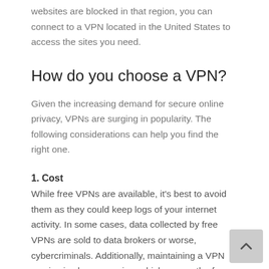websites are blocked in that region, you can connect to a VPN located in the United States to access the sites you need.
How do you choose a VPN?
Given the increasing demand for secure online privacy, VPNs are surging in popularity. The following considerations can help you find the right one.
1. Cost
While free VPNs are available, it's best to avoid them as they could keep logs of your internet activity. In some cases, data collected by free VPNs are sold to data brokers or worse, cybercriminals. Additionally, maintaining a VPN service is also expensive, which means the free ones will likely plaster ads on your browser to make a quick buck.